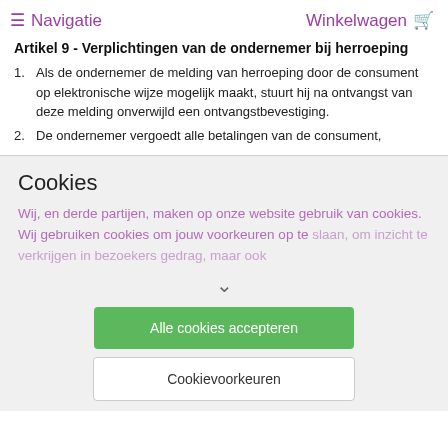≡ Navigatie   Winkelwagen 🛒
Artikel 9 - Verplichtingen van de ondernemer bij herroeping
Als de ondernemer de melding van herroeping door de consument op elektronische wijze mogelijk maakt, stuurt hij na ontvangst van deze melding onverwijld een ontvangstbevestiging.
De ondernemer vergoedt alle betalingen van de consument,
Cookies
Wij, en derde partijen, maken op onze website gebruik van cookies. Wij gebruiken cookies om jouw voorkeuren op te slaan, om inzicht te verkrijgen in bezoekergedrag, maar ook
Alle cookies accepteren
Cookievoorkeuren